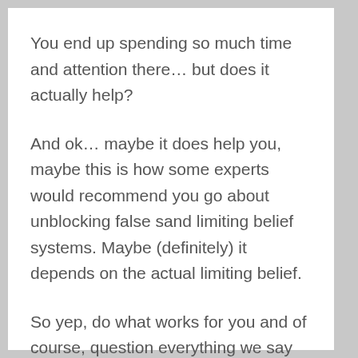You end up spending so much time and attention there… but does it actually help?
And ok… maybe it does help you, maybe this is how some experts would recommend you go about unblocking false sand limiting belief systems. Maybe (definitely) it depends on the actual limiting belief.
So yep, do what works for you and of course, question everything we say because these are simply our opinions and experiences.